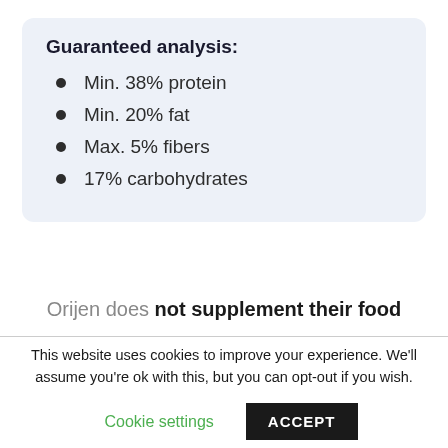Guaranteed analysis:
Min. 38% protein
Min. 20% fat
Max. 5% fibers
17% carbohydrates
Orijen does not supplement their food
This website uses cookies to improve your experience. We'll assume you're ok with this, but you can opt-out if you wish.
Cookie settings
ACCEPT